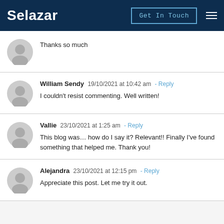Selazar | Get In Touch
Thanks so much
William Sendy  19/10/2021 at 10:42 am - Reply
I couldn't resist commenting. Well written!
Vallie  23/10/2021 at 1:25 am - Reply
This blog was… how do I say it? Relevant!! Finally I've found something that helped me. Thank you!
Alejandra  23/10/2021 at 12:15 pm - Reply
Appreciate this post. Let me try it out.